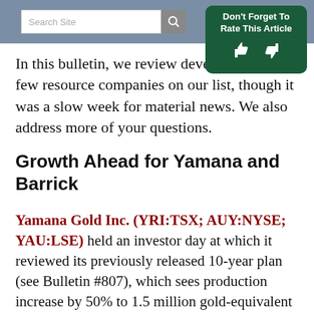Search Site | Don't Forget To Rate This Article
In this bulletin, we review developments at a few resource companies on our list, though it was a slow week for material news. We also address more of your questions.
Growth Ahead for Yamana and Barrick
Yamana Gold Inc. (YRI:TSX; AUY:NYSE; YAU:LSE) held an investor day at which it reviewed its previously released 10-year plan (see Bulletin #807), which sees production increase by 50% to 1.5 million gold-equivalent